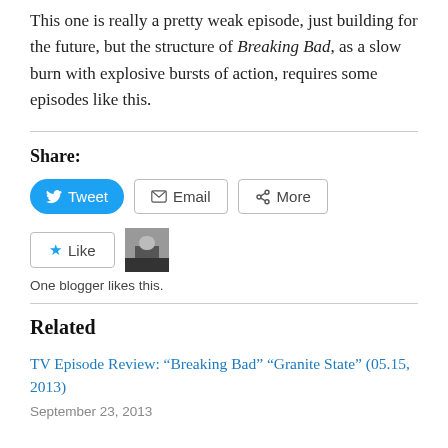This one is really a pretty weak episode, just building for the future, but the structure of Breaking Bad, as a slow burn with explosive bursts of action, requires some episodes like this.
Share:
Tweet | Email | More
Like | One blogger likes this.
Related
TV Episode Review: “Breaking Bad” “Granite State” (05.15, 2013)
September 23, 2013